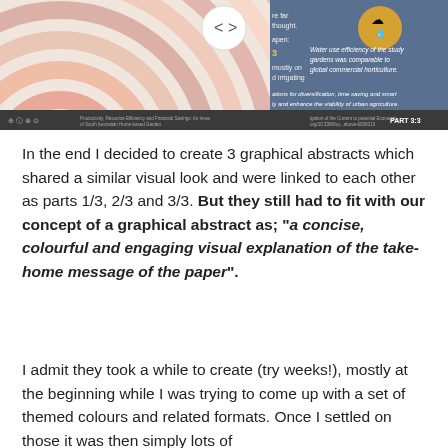[Figure (screenshot): A partial screenshot of a graphical abstract slide showing colorful concentric arcs on the left side (pink/coral/peach colors) and a blue panel on the right with a cloud/water icon and text about water use efficiency. Navigation arrows are visible at the top center. A dark footer bar shows 'PART 3:3'. The image is cropped at the top.]
In the end I decided to create 3 graphical abstracts which shared a similar visual look and were linked to each other as parts 1/3, 2/3 and 3/3. But they still had to fit with our concept of a graphical abstract as; "a concise, colourful and engaging visual explanation of the take-home message of the paper".
I admit they took a while to create (try weeks!), mostly at the beginning while I was trying to come up with a set of themed colours and related formats. Once I settled on those it was then simply lots of